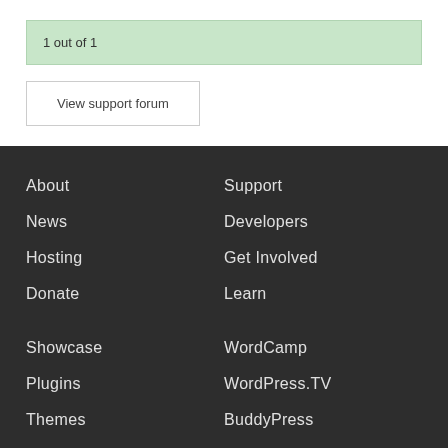1 out of 1
View support forum
About
Support
News
Developers
Hosting
Get Involved
Donate
Learn
Showcase
WordCamp
Plugins
WordPress.TV
Themes
BuddyPress